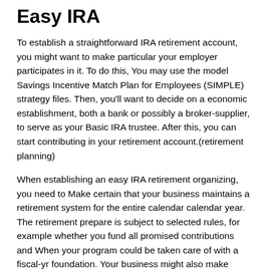Easy IRA
To establish a straightforward IRA retirement account, you might want to make particular your employer participates in it. To do this, You may use the model Savings Incentive Match Plan for Employees (SIMPLE) strategy files. Then, you'll want to decide on a economic establishment, both a bank or possibly a broker-supplier, to serve as your Basic IRA trustee. After this, you can start contributing in your retirement account.(retirement planning)
When establishing an easy IRA retirement organizing, you need to Make certain that your business maintains a retirement system for the entire calendar calendar year. The retirement prepare is subject to selected rules, for example whether you fund all promised contributions and When your program could be taken care of with a fiscal-yr foundation. Your business might also make contributions to a straightforward IRA plan, and you will elect to exclude precise staff from a prepare.